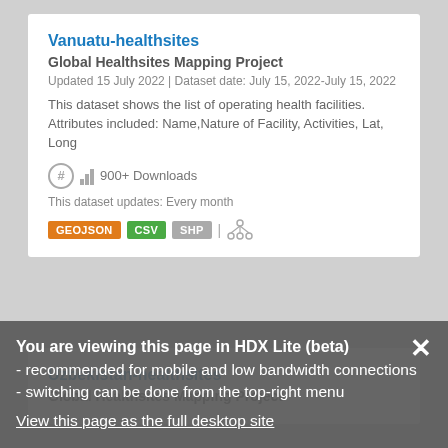Vanuatu-healthsites
Global Healthsites Mapping Project
Updated 15 July 2022 | Dataset date: July 15, 2022-July 15, 2022
This dataset shows the list of operating health facilities. Attributes included: Name,Nature of Facility, Activities, Lat, Long
900+ Downloads
This dataset updates: Every month
GEOJSON  CSV  SHP
Uzbekistan-healthsites
Global Healthsites Mapping Project
Updated 15 July 2022-July 15, 2022
This dataset shows the list of operating health facilities. Attributes included: Name,Nature of Facility, Activities, Lat,
800+ Downloads
You are viewing this page in HDX Lite (beta) - recommended for mobile and low bandwidth connections - switching can be done from the top-right menu
View this page as the full desktop site